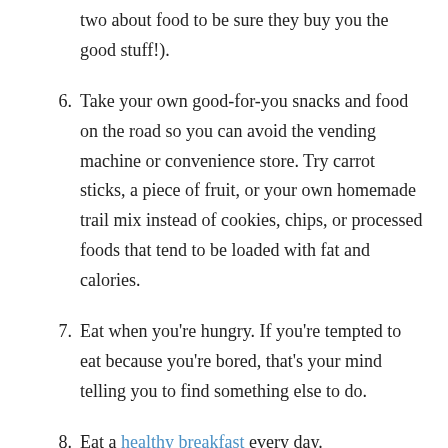(continuation) two about food to be sure they buy you the good stuff!).
6. Take your own good-for-you snacks and food on the road so you can avoid the vending machine or convenience store. Try carrot sticks, a piece of fruit, or your own homemade trail mix instead of cookies, chips, or processed foods that tend to be loaded with fat and calories.
7. Eat when you're hungry. If you're tempted to eat because you're bored, that's your mind telling you to find something else to do.
8. Eat a healthy breakfast every day.
9. Don't eat meals or snacks while watching TV because you'll probably end up eating more than you intend to.